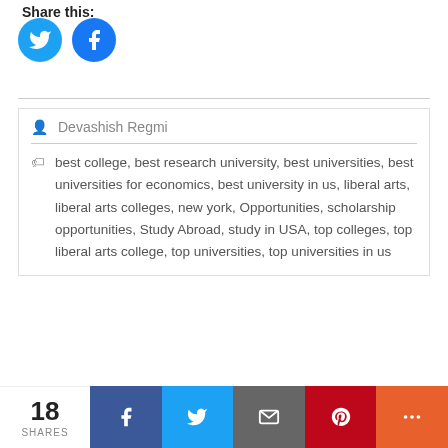Share this:
[Figure (other): Twitter and Facebook circular share buttons (blue circles with white bird and f icons)]
Devashish Regmi
best college, best research university, best universities, best universities for economics, best university in us, liberal arts, liberal arts colleges, new york, Opportunities, scholarship opportunities, Study Abroad, study in USA, top colleges, top liberal arts college, top universities, top universities in us
18 SHARES | Facebook | Twitter | Email | Pinterest | More